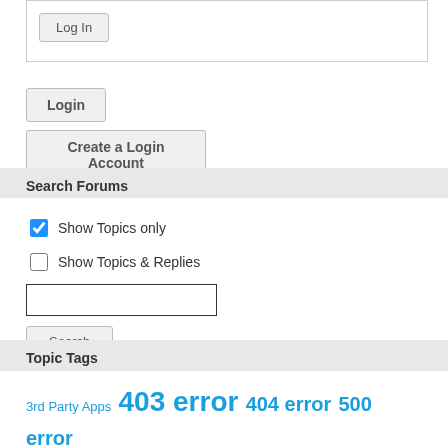[Figure (screenshot): A 'Log In' button inside a bordered white box at the top of the page]
Login
Create a Login Account
Search Forums
Show Topics only (checked), Show Topics & Replies (unchecked), search input field, Search button
Topic Tags
3rd Party Apps  403 error  404 error  500 error  @font-face  admin-ajax.php  Apache Module  apostrophe  AutoRestore  Backup  Buddies  Buddypress  ...